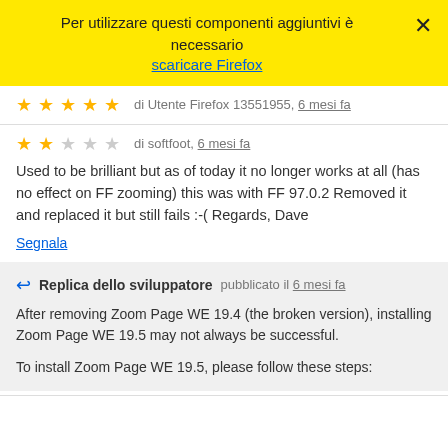Per utilizzare questi componenti aggiuntivi è necessario
scaricare Firefox
★★★★★ di Utente Firefox 13551955, 6 mesi fa
★★☆☆☆ di softfoot, 6 mesi fa
Used to be brilliant but as of today it no longer works at all (has no effect on FF zooming) this was with FF 97.0.2 Removed it and replaced it but still fails :-( Regards, Dave
Segnala
Replica dello sviluppatore pubblicato il 6 mesi fa
After removing Zoom Page WE 19.4 (the broken version), installing Zoom Page WE 19.5 may not always be successful.
To install Zoom Page WE 19.5, please follow these steps: